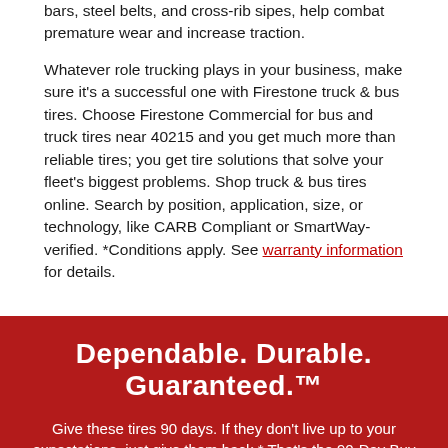bars, steel belts, and cross-rib sipes, help combat premature wear and increase traction.
Whatever role trucking plays in your business, make sure it's a successful one with Firestone truck & bus tires. Choose Firestone Commercial for bus and truck tires near 40215 and you get much more than reliable tires; you get tire solutions that solve your fleet's biggest problems. Shop truck & bus tires online. Search by position, application, size, or technology, like CARB Compliant or SmartWay-verified. *Conditions apply. See warranty information for details.
Dependable. Durable. Guaranteed.™
Give these tires 90 days. If they don't live up to your expectations, just give them back.* That's the 90-Day Buy and Try Guarantee™.
GET THE DETAILS